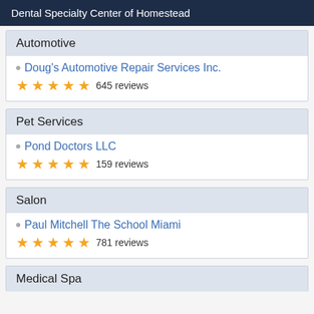Dental Specialty Center of Homestead
Automotive
Doug's Automotive Repair Services Inc.
★★★★★ 645 reviews
Pet Services
Pond Doctors LLC
★★★★★ 159 reviews
Salon
Paul Mitchell The School Miami
★★★★★ 781 reviews
Medical Spa